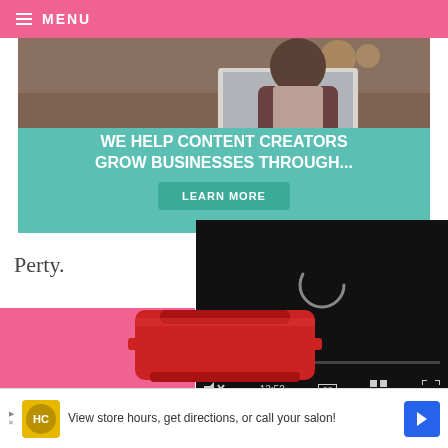☰ MENU
[Figure (screenshot): Banner advertisement showing a woman using a laptop with overlay text 'WE HELP CONTENT CREATORS GROW BUSINESSES THROUGH...' and a teal 'LEARN MORE' button on a teal background]
Perty.
[Figure (screenshot): Video player with black background showing a loading spinner and controls displaying 13:52 timestamp, mute button, CC button, grid button, and fullscreen button]
[Figure (photo): Red cooking pot/dutch oven partially visible at bottom of page]
[Figure (screenshot): Bottom advertisement banner with HC logo in yellow circle, text 'View store hours, get directions, or call your salon!' with blue navigation arrow icon]